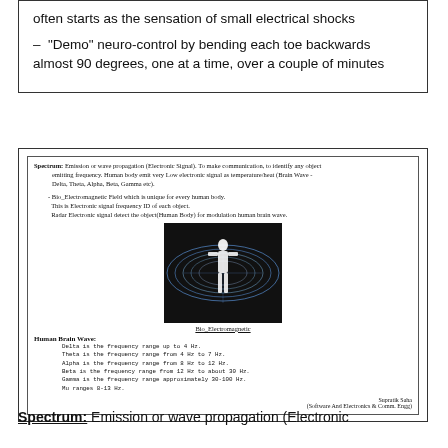often starts as the sensation of small electrical shocks
– "Demo" neuro-control by bending each toe backwards almost 90 degrees, one at a time, over a couple of minutes
[Figure (infographic): Scanned document page showing text about Spectrum and Bio_Electromagnetic field, with an image of a human body surrounded by electromagnetic field lines, and a section on Human Brain Waves with frequency ranges listed. Attribution to Supratik Saha (Software And Electronics & Comm. Engg).]
Spectrum: Emission or wave propagation (Electronic